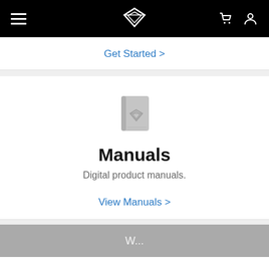Navigation bar with hamburger menu, Vizio logo, cart icon, and user icon
Get Started >
[Figure (illustration): Gray book/manual icon with Vizio diamond logo on cover]
Manuals
Digital product manuals.
View Manuals >
W...